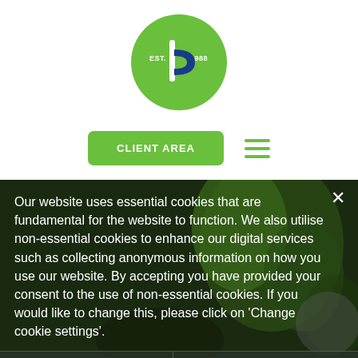[Figure (logo): Round green circle logo with a stylized blue and white 'b' letter in the center, 'EST.' on the left and '1988' on the right]
[Figure (other): Green 'CLIENT AREA' button and a green hamburger menu icon]
Our website uses essential cookies that are fundamental for the website to function. We also utilise non-essential cookies to enhance our digital services such as collecting anonymous information on how you use our website. By accepting you have provided your consent to the use of non-essential cookies. If you would like to change this, please click on 'Change cookie settings'.
Accept & Close
Change cookie settings